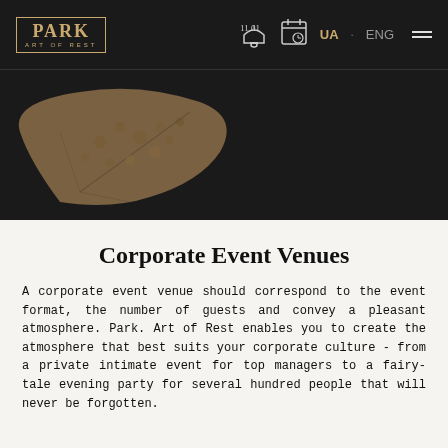PARK ART OF REST | UA ENG
[Figure (illustration): Decorative botanical leaf motif in tan/beige color on dark background, upper left of hero section]
Corporate Event Venues
A corporate event venue should correspond to the event format, the number of guests and convey a pleasant atmosphere. Park. Art of Rest enables you to create the atmosphere that best suits your corporate culture - from a private intimate event for top managers to a fairy-tale evening party for several hundred people that will never be forgotten.